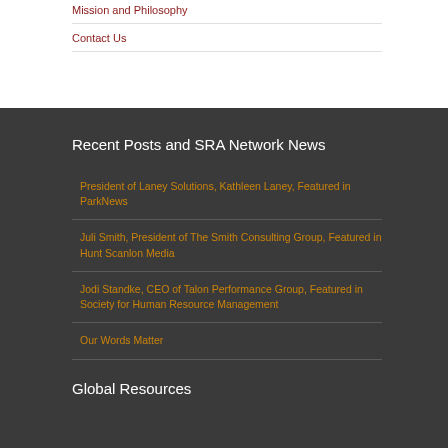Mission and Philosophy
Contact Us
Recent Posts and SRA Network News
President of Laney Solutions, Kathleen Laney, Featured in ParkNews
Juli Smith, President of The Smith Consulting Group, Featured in Hunt Scanlon Media
Jodi Standke, CEO of Talon Performance Group, Featured in Society for Human Resource Management
Our Words Matter
Global Resources